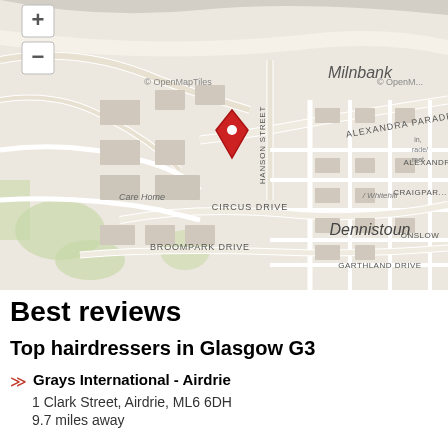[Figure (map): Street map showing Dennistoun area of Glasgow, Scotland. Map shows streets including Alexandra Parade, Hanson Street, Circus Drive, Broompark Drive, Garthland Drive. Neighbourhood labels include Milnbank, Dennistoun. A red map pin marker is placed on Alexandra Parade. Map attribution shows OpenMapTiles. Map controls show + and - zoom buttons in top left.]
Best reviews
Top hairdressers in Glasgow G3
Grays International - Airdrie
1 Clark Street, Airdrie, ML6 6DH
9.7 miles away